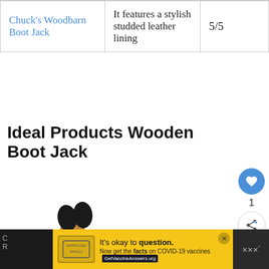| Product | Description | Rating |
| --- | --- | --- |
| Chuck's Woodbarn Boot Jack | It features a stylish studded leather lining | 5/5 |
Ideal Products Wooden Boot Jack
[Figure (photo): Wooden boot jack product photo — a Y-shaped wooden board with black rubber grips at the top fork, used for removing boots]
[Figure (screenshot): Ad banner: yellow background with stamp logo, text 'It's okay to question. Now get the facts on COVID-19 vaccines' with GetVaccineAnswers.org badge]